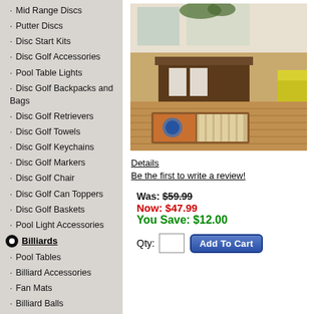Mid Range Discs
Putter Discs
Disc Start Kits
Disc Golf Accessories
Pool Table Lights
Disc Golf Backpacks and Bags
Disc Golf Retrievers
Disc Golf Towels
Disc Golf Keychains
Disc Golf Markers
Disc Golf Chair
Disc Golf Can Toppers
Disc Golf Baskets
Pool Light Accessories
Billiards
Pool Tables
Billiard Accessories
Fan Mats
Billiard Balls
NFL
MLB
Billiard Chalk
NBA
[Figure (photo): Product photo of a fan mat/rug placed on a hardwood floor in a modern dining/living room area]
Details
Be the first to write a review!
Was: $59.99
Now: $47.99
You Save: $12.00